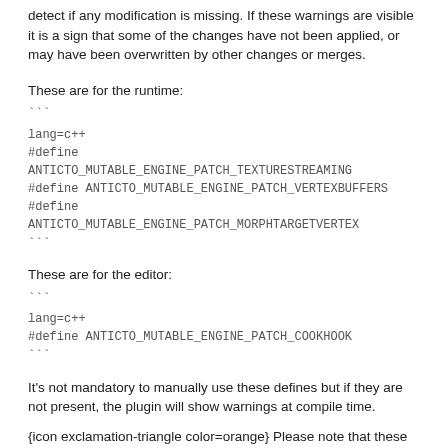detect if any modification is missing. If these warnings are visible it is a sign that some of the changes have not been applied, or may have been overwritten by other changes or merges.
These are for the runtime:
```
lang=c++
#define ANTICTO_MUTABLE_ENGINE_PATCH_TEXTURESTREAMING
#define ANTICTO_MUTABLE_ENGINE_PATCH_VERTEXBUFFERS
#define ANTICTO_MUTABLE_ENGINE_PATCH_MORPHTARGETVERTEX
```
These are for the editor:
```
lang=c++
#define ANTICTO_MUTABLE_ENGINE_PATCH_COOKHOOK
```
It's not mandatory to manually use these defines but if they are not present, the plugin will show warnings at compile time.
{icon exclamation-triangle color=orange} Please note that these are just simple preprocessor defines, so they do not guarantee that the actual changes are present, but capture most error cases.